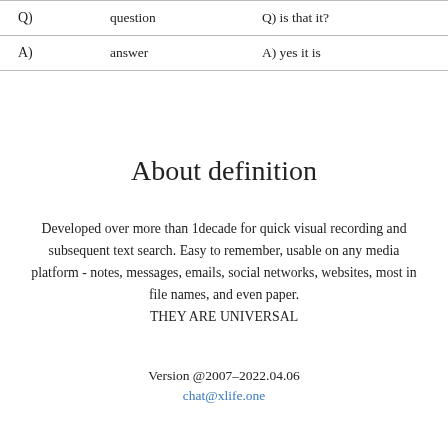| Q) | question | Q) is that it? |
| A) | answer | A) yes it is |
About definition
Developed over more than 1decade for quick visual recording and subsequent text search. Easy to remember, usable on any media platform - notes, messages, emails, social networks, websites, most in file names, and even paper. THEY ARE UNIVERSAL
Version @2007–2022.04.06
chat@xlife.one